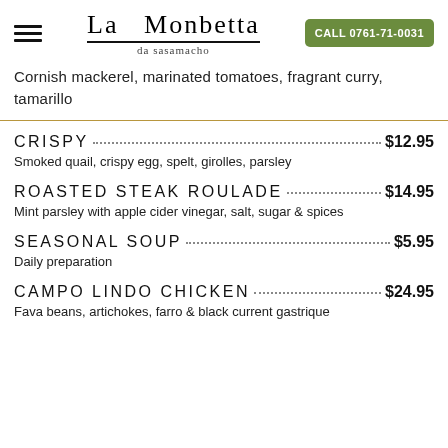La Monbetta da sasamacho | CALL 0761-71-0031
Cornish mackerel, marinated tomatoes, fragrant curry, tamarillo
CRISPY ..... $12.95 — Smoked quail, crispy egg, spelt, girolles, parsley
ROASTED STEAK ROULADE ..... $14.95 — Mint parsley with apple cider vinegar, salt, sugar & spices
SEASONAL SOUP ..... $5.95 — Daily preparation
CAMPO LINDO CHICKEN ..... $24.95 — Fava beans, artichokes, farro & black current gastrique